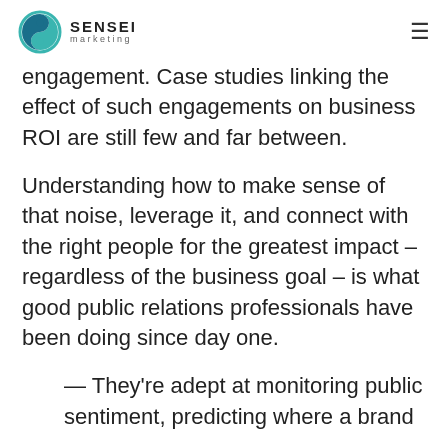SENSEI marketing
engagement. Case studies linking the effect of such engagements on business ROI are still few and far between.
Understanding how to make sense of that noise, leverage it, and connect with the right people for the greatest impact – regardless of the business goal – is what good public relations professionals have been doing since day one.
— They're adept at monitoring public sentiment, predicting where a brand